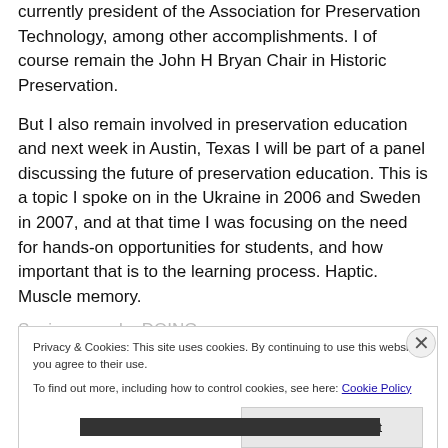currently president of the Association for Preservation Technology, among other accomplishments. I of course remain the John H Bryan Chair in Historic Preservation.
But I also remain involved in preservation education and next week in Austin, Texas I will be part of a panel discussing the future of preservation education. This is a topic I spoke on in the Ukraine in 2006 and Sweden in 2007, and at that time I was focusing on the need for hands-on opportunities for students, and how important that is to the learning process. Haptic. Muscle memory.
Seeing more by DOING...
Privacy & Cookies: This site uses cookies. By continuing to use this website, you agree to their use.
To find out more, including how to control cookies, see here: Cookie Policy